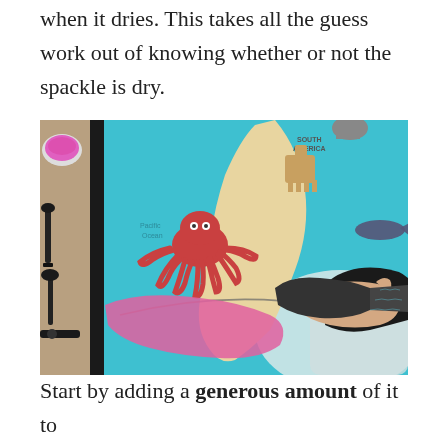when it dries. This takes all the guess work out of knowing whether or not the spackle is dry.
[Figure (photo): Photo of a hand holding a dark putty knife/scraper applying pink spackle onto a colorful world map poster. In the top-left corner is a small bowl of pink spackle. Several dark scraper tools are visible on the left side. The poster features a blue ocean background with an octopus illustration and South America labeled.]
Start by adding a generous amount of it to